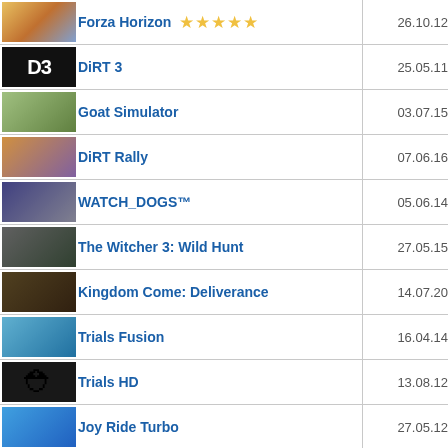|  | Game | Date |
| --- | --- | --- |
| [img] | Forza Horizon ★★★★★ | 26.10.12 |
| [img] | DiRT 3 | 25.05.11 |
| [img] | Goat Simulator | 03.07.15 |
| [img] | DiRT Rally | 07.06.16 |
| [img] | WATCH_DOGS™ | 05.06.14 |
| [img] | The Witcher 3: Wild Hunt | 27.05.15 |
| [img] | Kingdom Come: Deliverance | 14.07.20 |
| [img] | Trials Fusion | 16.04.14 |
| [img] | Trials HD | 13.08.12 |
| [img] | Joy Ride Turbo | 27.05.12 |
| [img] | DayZ | 12.05.20 |